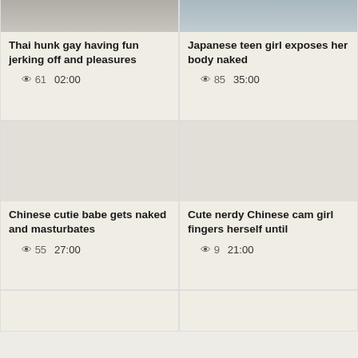[Figure (photo): Partial thumbnail top-left, cropped at top]
[Figure (photo): Partial thumbnail top-right, cropped at top]
Thai hunk gay having fun jerking off and pleasures
👁 61   02:00
Japanese teen girl exposes her body naked
👁 85   35:00
[Figure (photo): Blank/light thumbnail middle-left]
[Figure (photo): Blank/light thumbnail middle-right]
Chinese cutie babe gets naked and masturbates
👁 55   27:00
Cute nerdy Chinese cam girl fingers herself until
👁 9   21:00